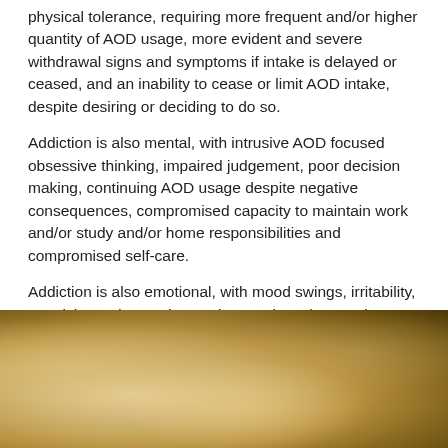physical tolerance, requiring more frequent and/or higher quantity of AOD usage, more evident and severe withdrawal signs and symptoms if intake is delayed or ceased, and an inability to cease or limit AOD intake, despite desiring or deciding to do so.
Addiction is also mental, with intrusive AOD focused obsessive thinking, impaired judgement, poor decision making, continuing AOD usage despite negative consequences, compromised capacity to maintain work and/or study and/or home responsibilities and compromised self-care.
Addiction is also emotional, with mood swings, irritability, reactivity, sadness, depression, anxiety, desperation, suicidality, social isolation, social impairment, avoidance of non-AOD using friends and family, and hyperactivity all possible, depending on the nature and pattern of AOD usage.
[Figure (photo): Blurred warm-toned bokeh photo with golden and amber tones, possibly an outdoor nature scene with soft light.]